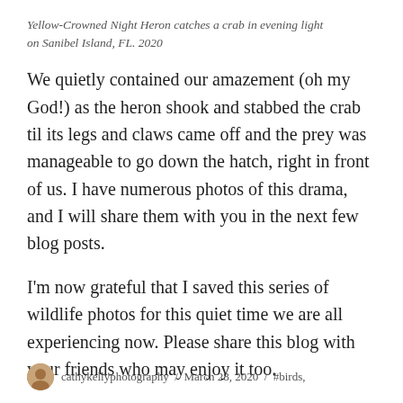Yellow-Crowned Night Heron catches a crab in evening light on Sanibel Island, FL. 2020
We quietly contained our amazement (oh my God!) as the heron shook and stabbed the crab til its legs and claws came off and the prey was manageable to go down the hatch, right in front of us. I have numerous photos of this drama, and I will share them with you in the next few blog posts.
I'm now grateful that I saved this series of wildlife photos for this quiet time we are all experiencing now. Please share this blog with your friends who may enjoy it too.
cathykellyphotography / March 28, 2020 / #birds,